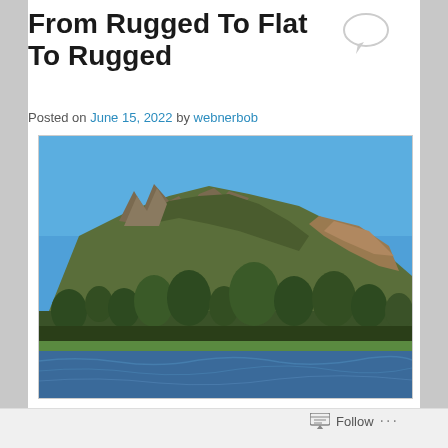From Rugged To Flat To Rugged
Posted on June 15, 2022 by webnerbob
[Figure (photo): Photograph of a rugged mountain with rocky peaks, densely forested slopes, and trees in the foreground along a blue lake or river.]
Follow